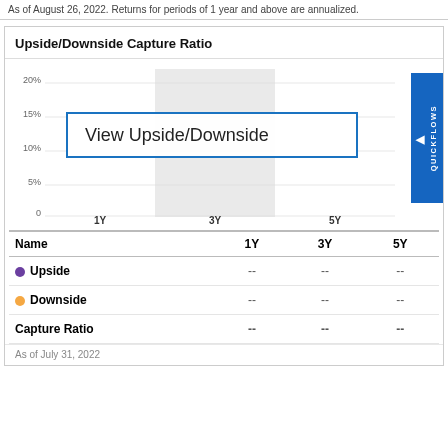As of August 26, 2022. Returns for periods of 1 year and above are annualized.
Upside/Downside Capture Ratio
[Figure (bar-chart): Bar chart with y-axis 0 to 20%+ and x-axis 1Y, 3Y, 5Y. Overlaid with 'View Upside/Downside' tooltip box and QUICKFLOWS button. No data bars visible.]
| Name | 1Y | 3Y | 5Y |
| --- | --- | --- | --- |
| Upside | -- | -- | -- |
| Downside | -- | -- | -- |
| Capture Ratio | -- | -- | -- |
As of July 31, 2022